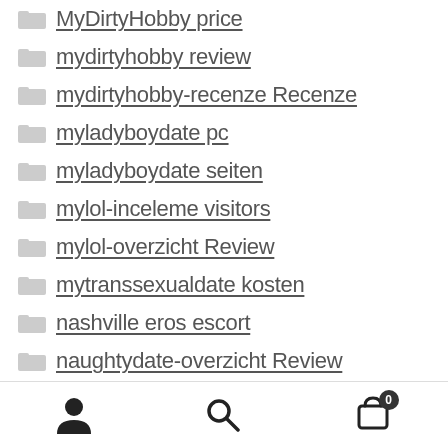MyDirtyHobby price
mydirtyhobby review
mydirtyhobby-recenze Recenze
myladyboydate pc
myladyboydate seiten
mylol-inceleme visitors
mylol-overzicht Review
mytranssexualdate kosten
nashville eros escort
naughtydate-overzicht Review
New post